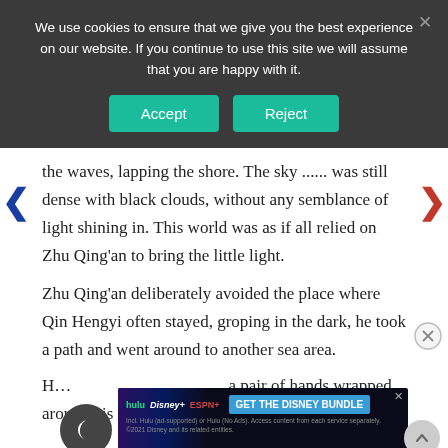We use cookies to ensure that we give you the best experience on our website. If you continue to use this site we will assume that you are happy with it.
the waves, lapping the shore. The sky ...... was still dense with black clouds, without any semblance of light shining in. This world was as if all relied on Zhu Qing’an to bring the little light.
Zhu Qing’an deliberately avoided the place where Qin Hengyi often stayed, groping in the dark, he took a path and went around to another sea area.
H… a pair of hands wrapped around his waist.
[Figure (screenshot): Disney Bundle advertisement banner showing Hulu, Disney+, and ESPN+ logos with 'GET THE DISNEY BUNDLE' call to action button]